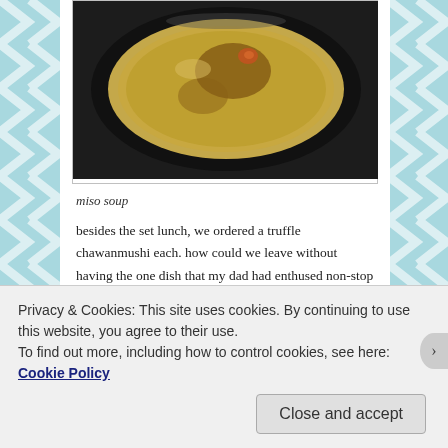[Figure (photo): Close-up photo of miso soup in a dark bowl, viewed from above, showing light-colored broth with brown tones]
miso soup
besides the set lunch, we ordered a truffle chawanmushi each. how could we leave without having the one dish that my dad had enthused non-stop about the night before? each serving costs $8++ with any set lunch order. it was definitely money well spent in my opinion. the
Privacy & Cookies: This site uses cookies. By continuing to use this website, you agree to their use.
To find out more, including how to control cookies, see here: Cookie Policy
Close and accept